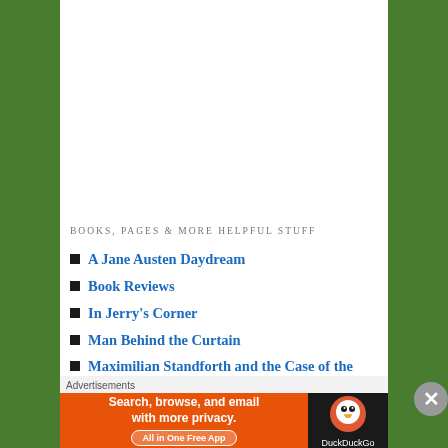[Figure (photo): A man wearing a dark hoodie, photo cropped to show face/neck/chest area, dark tones]
BOOKS, PAGES & MORE HELPFUL STUFF
A Jane Austen Daydream
Book Reviews
In Jerry's Corner
Man Behind the Curtain
Maximilian Standforth and the Case of the Dangerous
Advertisements
[Figure (screenshot): DuckDuckGo advertisement banner: orange left panel with text 'Search, browse, and email with more privacy. All in One Free App' and black right panel with DuckDuckGo logo]